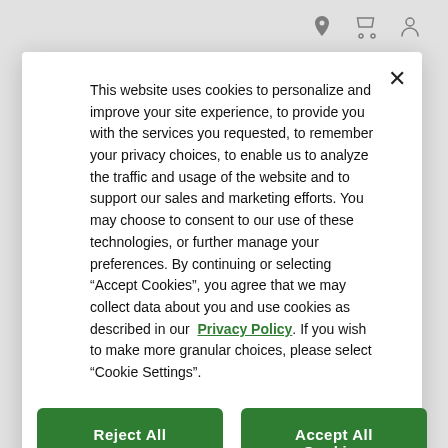This website uses cookies to personalize and improve your site experience, to provide you with the services you requested, to remember your privacy choices, to enable us to analyze the traffic and usage of the website and to support our sales and marketing efforts. You may choose to consent to our use of these technologies, or further manage your preferences. By continuing or selecting “Accept Cookies”, you agree that we may collect data about you and use cookies as described in our Privacy Policy. If you wish to make more granular choices, please select “Cookie Settings”.
Reject All
Accept All Cookies
Cookies Settings
6 inch round flat drainage grate
Manufactured from structurally foamed High-Density